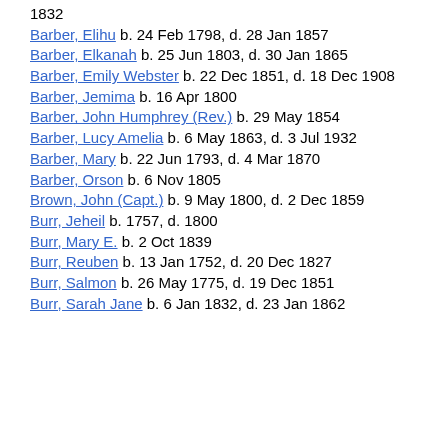1832
Barber, Elihu  b. 24 Feb 1798, d. 28 Jan 1857
Barber, Elkanah  b. 25 Jun 1803, d. 30 Jan 1865
Barber, Emily Webster  b. 22 Dec 1851, d. 18 Dec 1908
Barber, Jemima  b. 16 Apr 1800
Barber, John Humphrey (Rev.)  b. 29 May 1854
Barber, Lucy Amelia  b. 6 May 1863, d. 3 Jul 1932
Barber, Mary  b. 22 Jun 1793, d. 4 Mar 1870
Barber, Orson  b. 6 Nov 1805
Brown, John (Capt.)  b. 9 May 1800, d. 2 Dec 1859
Burr, Jeheil  b. 1757, d. 1800
Burr, Mary E.  b. 2 Oct 1839
Burr, Reuben  b. 13 Jan 1752, d. 20 Dec 1827
Burr, Salmon  b. 26 May 1775, d. 19 Dec 1851
Burr, Sarah Jane  b. 6 Jan 1832, d. 23 Jan 1862